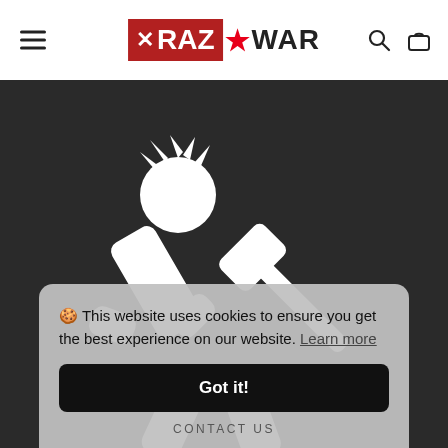☰  XRAZ★WAR  🔍  🛍
[Figure (illustration): White crossed person/character silhouette and hammer icon on dark background, with RAZWAR watermark text below in white]
🍪 This website uses cookies to ensure you get the best experience on our website. Learn more
Got it!
CONTACT US